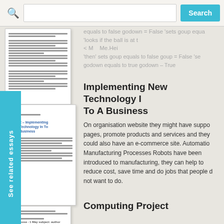[Figure (screenshot): Search bar with magnifying glass icon, white input field, and teal Search button]
equals to false godown = False 'sets goup equals 'looks if the ball is at the bottom Me.He then' sets goup equals to false goup = False 'se godown equals to true godown = True
[Figure (screenshot): Document thumbnail card showing a page of text]
[Figure (screenshot): See related essays teal vertical banner and document thumbnail showing title '2 – Implementing Technology In To Business']
Implementing New Technology In To A Business
On organisation website they might have support pages, promote products and services and they could also have an e-commerce site. Automation Manufacturing Processes Robots have been introduced to manufacturing, they can help to reduce cost, save time and do jobs that people do not want to do.
Computing Project
[Figure (screenshot): Partial document thumbnail at bottom left]